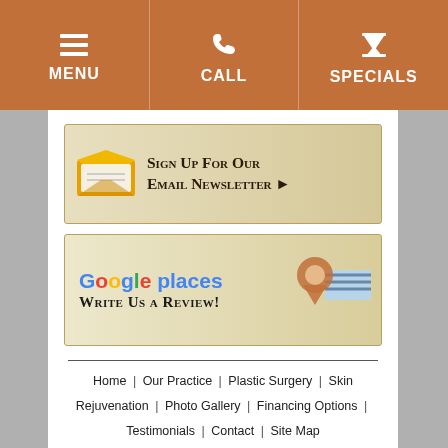MENU | CALL | SPECIALS
[Figure (illustration): Email newsletter signup banner with envelope icon and text 'Sign Up For Our Email Newsletter']
[Figure (illustration): Google Places review banner with Google Places logo and text 'Write Us A Review!']
Home | Our Practice | Plastic Surgery | Skin Rejuvenation | Photo Gallery | Financing Options | Testimonials | Contact | Site Map
[Figure (logo): Certified by The American Board of Plastic Surgery Inc. logo with blue circular seal]
[Figure (logo): Partial view of a triangular red logo at the bottom]